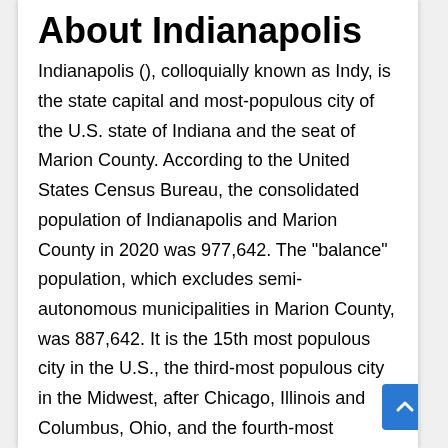About Indianapolis
Indianapolis (), colloquially known as Indy, is the state capital and most-populous city of the U.S. state of Indiana and the seat of Marion County. According to the United States Census Bureau, the consolidated population of Indianapolis and Marion County in 2020 was 977,642. The "balance" population, which excludes semi-autonomous municipalities in Marion County, was 887,642. It is the 15th most populous city in the U.S., the third-most populous city in the Midwest, after Chicago, Illinois and Columbus, Ohio, and the fourth-most populous state capital after Phoenix, Arizona; Austin, Texas; and Columbus. The Indianapolis metropolitan area is the 33rd most populous metropolitan statistical area in